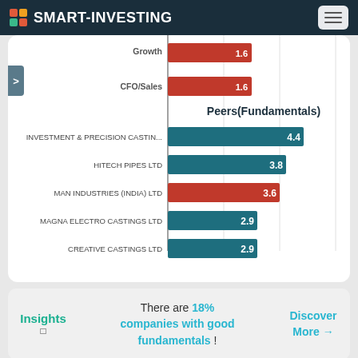SMART-INVESTING
[Figure (bar-chart): Peers(Fundamentals)]
Insights — There are 18% companies with good fundamentals! Discover More →